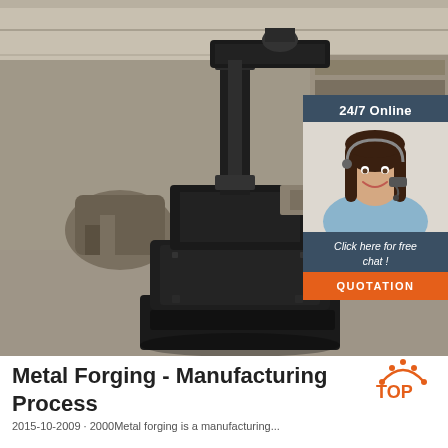[Figure (photo): Industrial metal forging machine (black drop hammer/press) in a large warehouse/factory setting with shelving and equipment in the background. Grey concrete floor visible.]
[Figure (infographic): 24/7 Online chat widget overlay showing a smiling female customer service representative wearing a headset, with dark blue background, 'Click here for free chat!' text in white italic, and an orange 'QUOTATION' button.]
Metal Forging - Manufacturing Process
[Figure (logo): TOP logo with orange arc/triangle with dots above the word TOP in orange text]
2015-10-2009 · 2000Metal forging is a manufacturing...